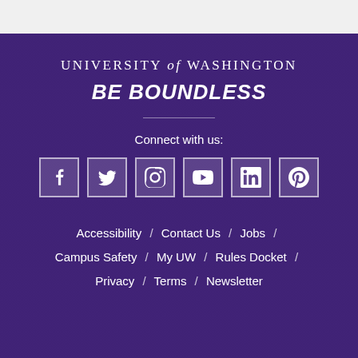UNIVERSITY of WASHINGTON
BE BOUNDLESS
Connect with us:
[Figure (infographic): Row of 6 social media icons: Facebook, Twitter, Instagram, YouTube, LinkedIn, Pinterest]
Accessibility / Contact Us / Jobs / Campus Safety / My UW / Rules Docket / Privacy / Terms / Newsletter